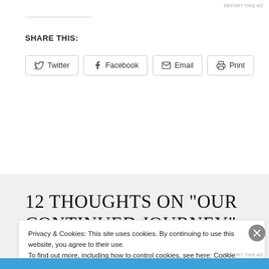REPORT THIS AD
SHARE THIS:
Twitter  Facebook  Email  Print
12 THOUGHTS ON “OUR CONTINUED JOURNEY”
Privacy & Cookies: This site uses cookies. By continuing to use this website, you agree to their use. To find out more, including how to control cookies, see here: Cookie Policy
Close and accept